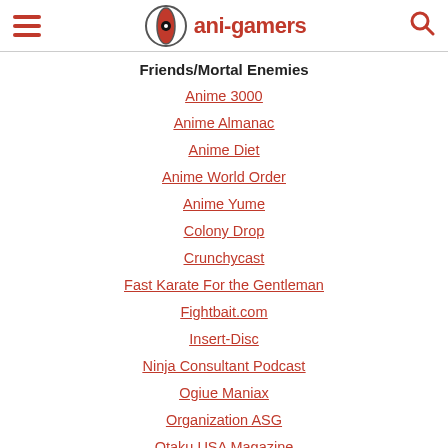ani-gamers
Friends/Mortal Enemies
Anime 3000
Anime Almanac
Anime Diet
Anime World Order
Anime Yume
Colony Drop
Crunchycast
Fast Karate For the Gentleman
Fightbait.com
Insert-Disc
Ninja Consultant Podcast
Ogiue Maniax
Organization ASG
Otaku USA Magazine